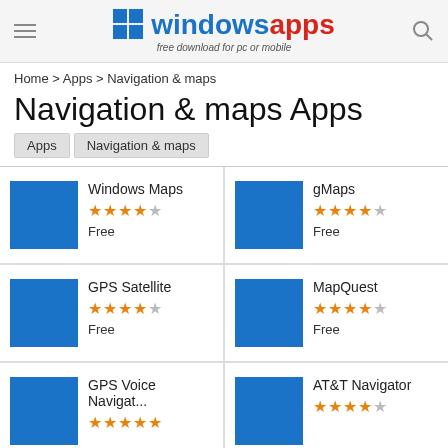windowsapps - free download for pc or mobile
Home > Apps > Navigation & maps
Navigation & maps Apps
Apps
Navigation & maps
[Figure (screenshot): App listing card: Windows Maps, 4 stars, Free]
[Figure (screenshot): App listing card: gMaps, 4 stars, Free]
[Figure (screenshot): App listing card: GPS Satellite, 4 stars, Free]
[Figure (screenshot): App listing card: MapQuest, 4 stars, Free]
[Figure (screenshot): App listing card: GPS Voice Navigat..., 5 stars]
[Figure (screenshot): App listing card: AT&T Navigator, 4 stars]